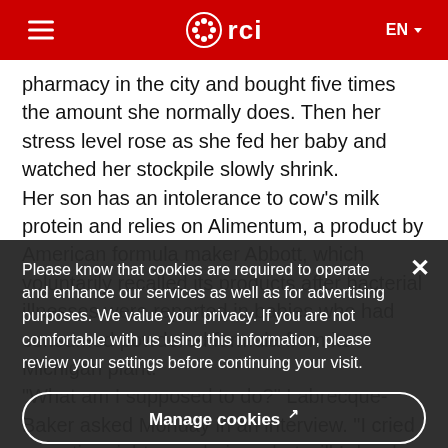RCI (Radio-Canada International) — EN
pharmacy in the city and bought five times the amount she normally does. Then her stress level rose as she fed her baby and watched her stockpile slowly shrink.
Her son has an intolerance to cow's milk protein and relies on Alimentum, a product by American formula maker Abbott, which voluntarily recalled its products after bacterial illnesses were reported in babies who had consumed powdered formula from its Michigan plant.
"What am I supposed to do?" Labrecque-Baker asked Monday in an interview. "I cried an entire night, wondering what will I do when I won't have any more formula."
The disruptions at Abbott, the United States' largest formula maker, are causing supply issues for
Please know that cookies are required to operate and enhance our services as well as for advertising purposes. We value your privacy. If you are not comfortable with us using this information, please review your settings before continuing your visit.
Manage cookies
More information